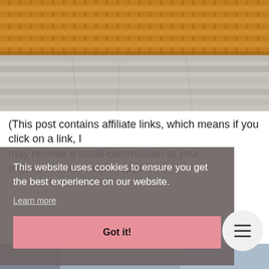[Figure (photo): Close-up photo of a woven wicker basket on a distressed white wooden surface]
(This post contains affiliate links, which means if you click on a link, I may receive a small commission at your expense, which helps support my
This website uses cookies to ensure you get the best experience on our website. Learn more
Got it!
[Figure (photo): Partial bottom strip of a photo]